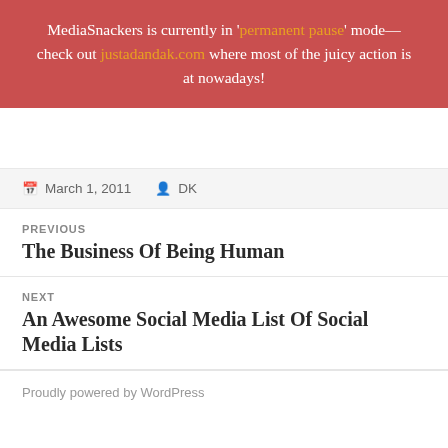MediaSnackers is currently in 'permanent pause' mode—check out justadandak.com where most of the juicy action is at nowadays!
March 1, 2011   DK
PREVIOUS
The Business Of Being Human
NEXT
An Awesome Social Media List Of Social Media Lists
Proudly powered by WordPress